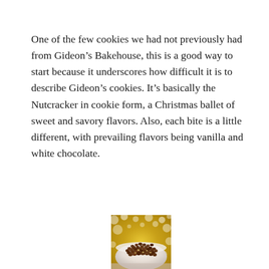One of the few cookies we had not previously had from Gideon’s Bakehouse, this is a good way to start because it underscores how difficult it is to describe Gideon’s cookies. It’s basically the Nutcracker in cookie form, a Christmas ballet of sweet and savory flavors. Also, each bite is a little different, with prevailing flavors being vanilla and white chocolate.
[Figure (photo): Close-up photograph of a white bowl filled with chocolate chips and chopped nuts, set against a warm golden bokeh background with out-of-focus lights]